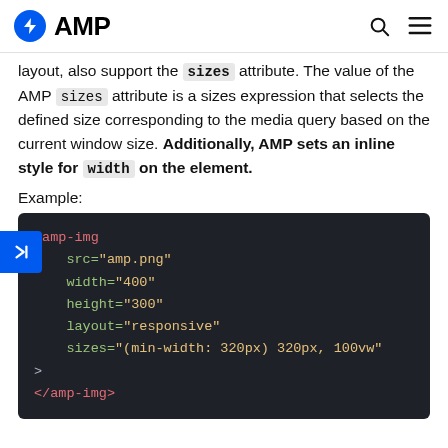AMP
layout, also support the sizes attribute. The value of the AMP sizes attribute is a sizes expression that selects the defined size corresponding to the media query based on the current window size. Additionally, AMP sets an inline style for width on the element.
Example:
[Figure (screenshot): Code block showing AMP HTML example with amp-img tag containing src, width, height, layout, and sizes attributes on dark background]